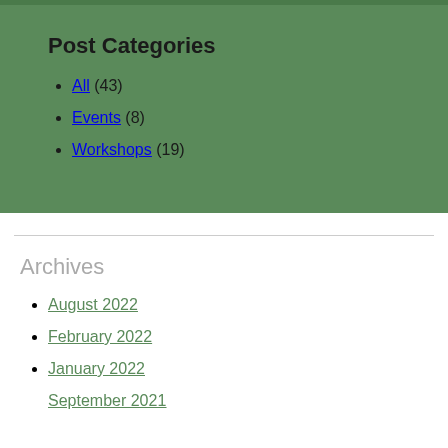Post Categories
All (43)
Events (8)
Workshops (19)
Archives
August 2022
February 2022
January 2022
September 2021